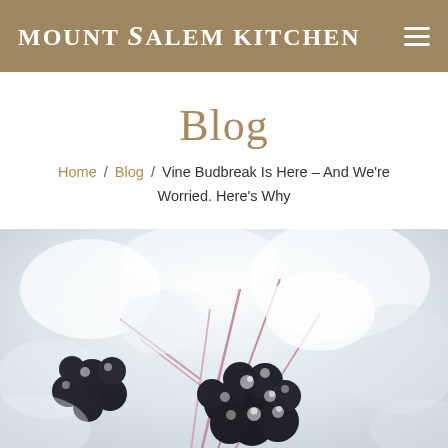MOUNT SALEM KITCHEN
Blog
Home / Blog / Vine Budbreak Is Here – And We're Worried. Here's Why
[Figure (photo): Close-up photograph of dark berries dusted with snow/frost on a blurred wintery white background, with red stems visible]